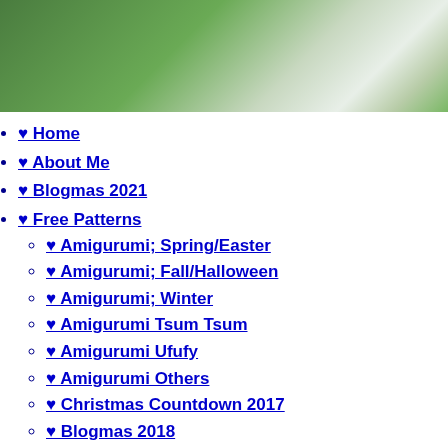[Figure (photo): Green and white decorative banner image at the top of the page]
♥ Home
♥ About Me
♥ Blogmas 2021
♥ Free Patterns
♥ Amigurumi; Spring/Easter
♥ Amigurumi; Fall/Halloween
♥ Amigurumi; Winter
♥ Amigurumi Tsum Tsum
♥ Amigurumi Ufufy
♥ Amigurumi Others
♥ Christmas Countdown 2017
♥ Blogmas 2018
♥ Blogmas 2020
♥ Tutorials
♥ Easter
♥ Home Deco
♥ Others
♥ Drawing Lessons
♥ FanFic
♥ Chapter 1